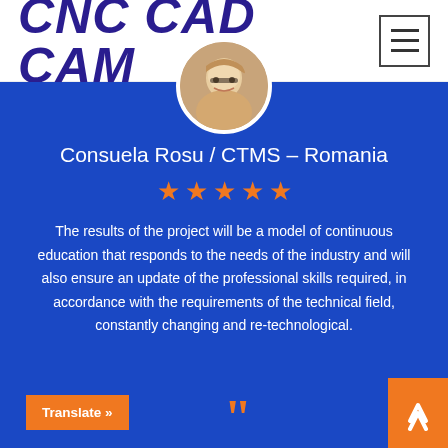CNC CAD CAM
[Figure (photo): Circular avatar photo of Consuela Rosu, a woman with glasses]
Consuela Rosu / CTMS – Romania
★★★★★
The results of the project will be a model of continuous education that responds to the needs of the industry and will also ensure an update of the professional skills required, in accordance with the requirements of the technical field, constantly changing and re-technological.
Translate »